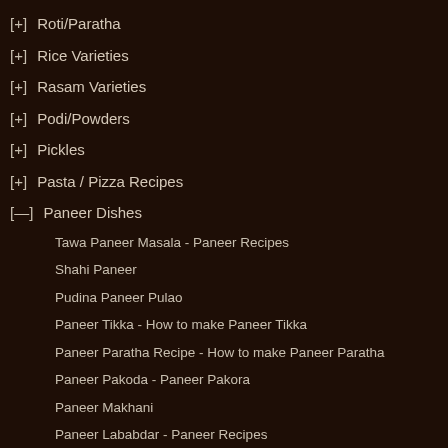[+] Roti/Paratha
[+] Rice Varieties
[+] Rasam Varieties
[+] Podi/Powders
[+] Pickles
[+] Pasta / Pizza Recipes
[—] Paneer Dishes
Tawa Paneer Masala - Paneer Recipes
Shahi Paneer
Pudina Paneer Pulao
Paneer Tikka - How to make Paneer Tikka
Paneer Paratha Recipe - How to make Paneer Paratha
Paneer Pakoda - Paneer Pakora
Paneer Makhani
Paneer Lababdar - Paneer Recipes